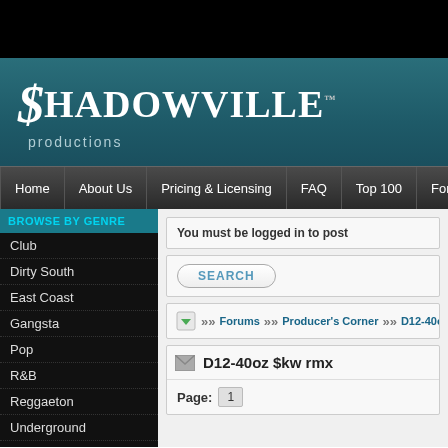[Figure (screenshot): Black top strip at the top of the page]
Shadowville Productions
Home | About Us | Pricing & Licensing | FAQ | Top 100 | Forums
BROWSE BY GENRE
Club
Dirty South
East Coast
Gangsta
Pop
R&B
Reggaeton
Underground
Urban
West Coast
BROWSE BY MOOD
You must be logged in to post
SEARCH
Forums >> Producer's Corner >> D12-40oz...
D12-40oz $kw rmx
Page: 1